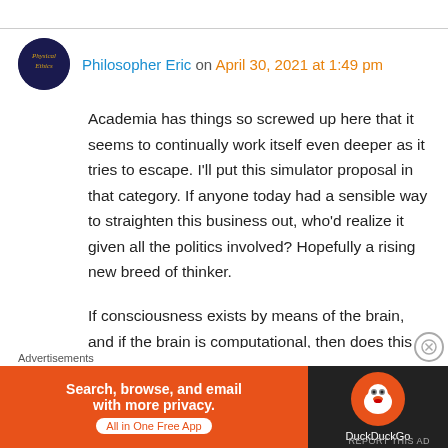Philosopher Eric on April 30, 2021 at 1:49 pm
Academia has things so screwed up here that it seems to continually work itself even deeper as it tries to escape. I'll put this simulator proposal in that category. If anyone today had a sensible way to straighten this business out, who'd realize it given all the politics involved? Hopefully a rising new breed of thinker.
If consciousness exists by means of the brain, and if the brain is computational, then does this mean that consciousness must exist as
[Figure (other): DuckDuckGo advertisement banner: orange background with text 'Search, browse, and email with more privacy. All in One Free App' on left, DuckDuckGo logo on dark right side.]